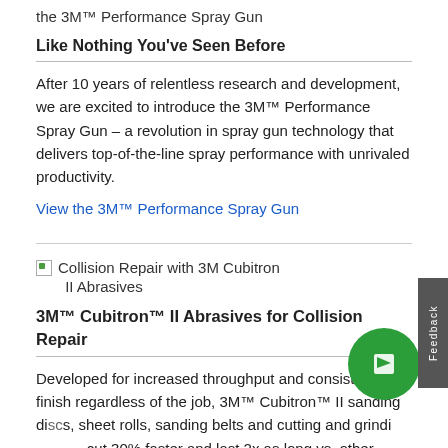the 3M™ Performance Spray Gun
Like Nothing You've Seen Before
After 10 years of relentless research and development, we are excited to introduce the 3M™ Performance Spray Gun – a revolution in spray gun technology that delivers top-of-the-line spray performance with unrivaled productivity.
View the 3M™ Performance Spray Gun
[Figure (illustration): Thumbnail image for Collision Repair with 3M Cubitron II Abrasives]
3M™ Cubitron™ II Abrasives for Collision Repair
Developed for increased throughput and consistent finish regardless of the job, 3M™ Cubitron™ II sanding discs, sheet rolls, sanding belts and cutting and grinding wheels cut 30% faster and last 2x as long vs. other premium abrasives. Featuring our Precision Shaped Grain (PSG) essentially sharp peaks that slice, not plow, through...